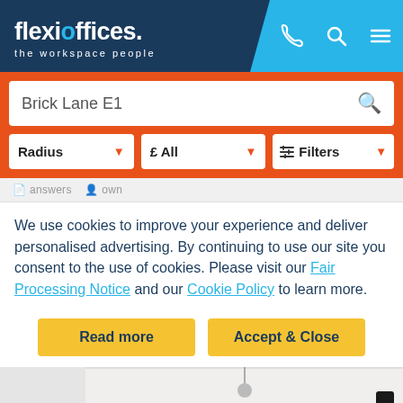[Figure (screenshot): flexioffices website header with logo and navigation icons]
[Figure (screenshot): Search bar showing 'Brick Lane E1' with search icon]
[Figure (screenshot): Filter row with Radius, £ All, and Filters dropdowns on orange background]
We use cookies to improve your experience and deliver personalised advertising. By continuing to use our site you consent to the use of cookies. Please visit our Fair Processing Notice and our Cookie Policy to learn more.
[Figure (screenshot): Two yellow buttons: 'Read more' and 'Accept & Close']
[Figure (photo): Partial view of an office interior with white ceiling and a dark pendant lamp]